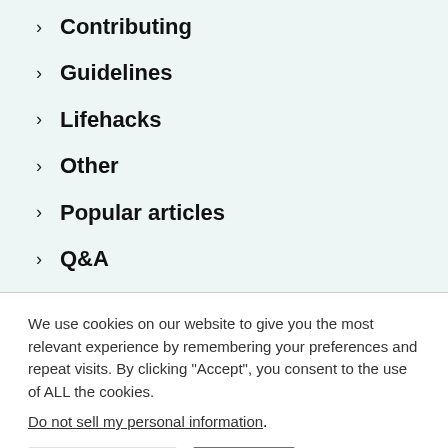Contributing
Guidelines
Lifehacks
Other
Popular articles
Q&A
We use cookies on our website to give you the most relevant experience by remembering your preferences and repeat visits. By clicking “Accept”, you consent to the use of ALL the cookies.
Do not sell my personal information.
Cookie Settings  Accept